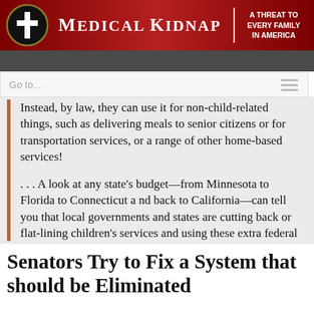MEDICAL KIDNAP | A THREAT TO EVERY FAMILY IN AMERICA
puts money back into keeping families
Go to...
Instead, by law, they can use it for non-child-related things, such as delivering meals to senior citizens or for transportation services, or a range of other home-based services!
. . . A look at any state's budget—from Minnesota to Florida to Connecticut and back to California—can tell you that local governments and states are cutting back or flat-lining children's services and using these extra federal dollars to balance their budgets. [5]
Senators Try to Fix a System that should be Eliminated